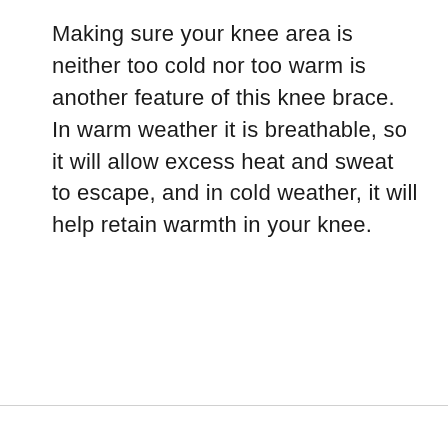Making sure your knee area is neither too cold nor too warm is another feature of this knee brace. In warm weather it is breathable, so it will allow excess heat and sweat to escape, and in cold weather, it will help retain warmth in your knee.